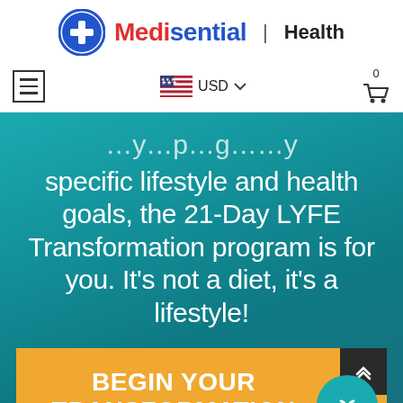[Figure (logo): Medisential Health logo with blue circle icon, red and blue text, and Health label]
Hamburger menu | USD currency selector | Shopping cart (0 items)
specific lifestyle and health goals, the 21-Day LYFE Transformation program is for you. It's not a diet, it's a lifestyle!
BEGIN YOUR TRANSFORMATION